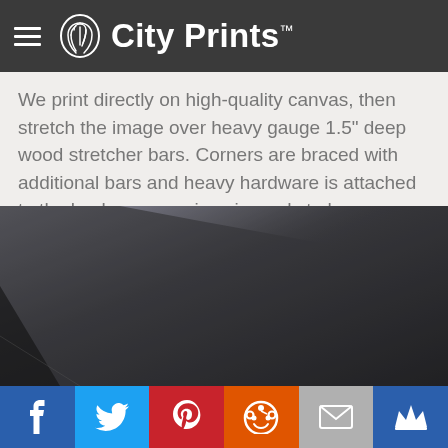City Prints
We print directly on high-quality canvas, then stretch the image over heavy gauge 1.5" deep wood stretcher bars. Corners are braced with additional bars and heavy hardware is attached to the back so your piece is ready to hang. (pictured below)
[Figure (photo): Close-up photo of the back/corner of a canvas print showing dark textured canvas stretched over wood stretcher bars]
Social share bar: Facebook, Twitter, Pinterest, Reddit, Email, Su (crown/bookmark)